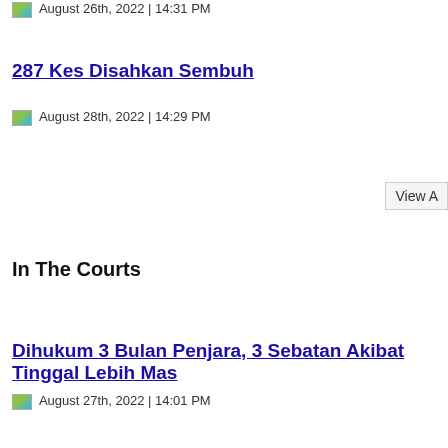August 26th, 2022 | 14:31 PM
287 Kes Disahkan Sembuh
August 28th, 2022 | 14:29 PM
View A
In The Courts
Dihukum 3 Bulan Penjara, 3 Sebatan Akibat Tinggal Lebih Mas
August 27th, 2022 | 14:01 PM